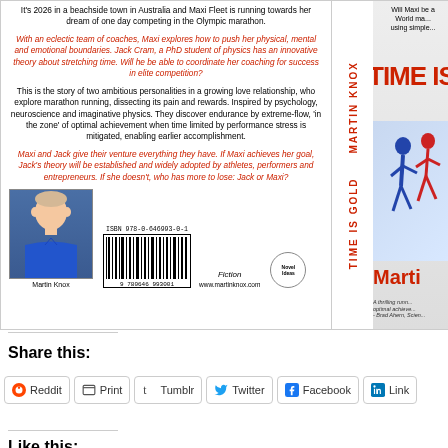[Figure (illustration): Book back cover of 'Time Is Gold' by Martin Knox. Shows descriptive text about the story in black and red/italic, an author photo of Martin Knox, a barcode with ISBN 978-0-646993-0-1, and website www.martinknox.com. Also shows partial spine with title 'TIME IS GOLD MARTIN KNOX' and partial front cover with running figures.]
Share this:
Reddit
Print
Tumblr
Twitter
Facebook
Link
Like this: